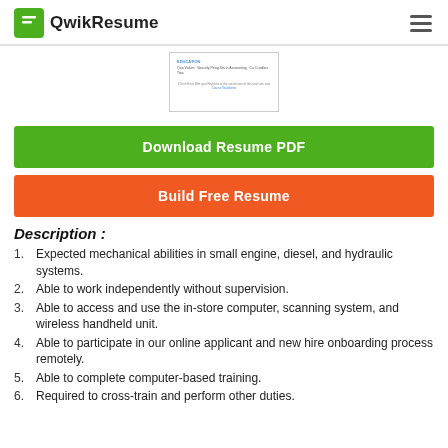QwikResume
[Figure (screenshot): Partial resume document preview thumbnail showing EDUCATION section with small text]
Download Resume PDF
Build Free Resume
Description :
Expected mechanical abilities in small engine, diesel, and hydraulic systems.
Able to work independently without supervision.
Able to access and use the in-store computer, scanning system, and wireless handheld unit.
Able to participate in our online applicant and new hire onboarding process remotely.
Able to complete computer-based training.
Required to cross-train and perform other duties.